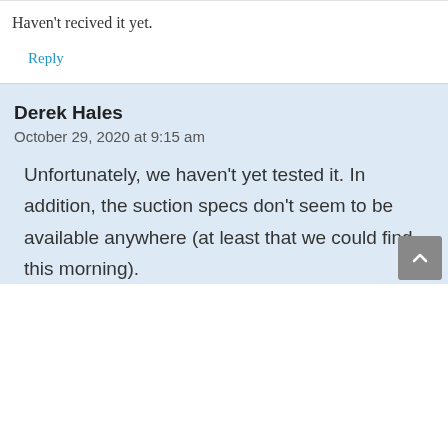Haven't recived it yet.
Reply
Derek Hales
October 29, 2020 at 9:15 am
Unfortunately, we haven't yet tested it. In addition, the suction specs don't seem to be available anywhere (at least that we could find this morning).